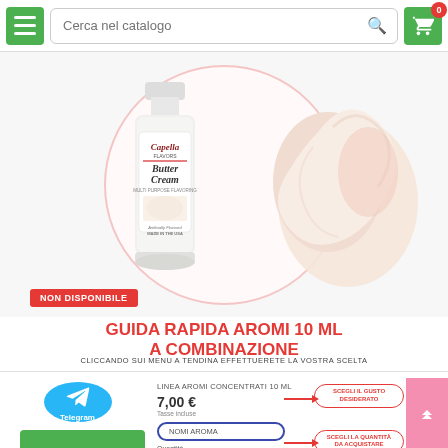Cerca nel catalogo | cart: 0
[Figure (photo): Capella Butter Cream flavor bottle with cream swirl background, inside a circular pink-bordered frame. Red badge 'NON DISPONIBILE' at bottom left.]
GUIDA RAPIDA AROMI 10 ML A COMBINAZIONE
CLICCANDO SUI MENU A TENDINA EFFETTUERETE LA VOSTRA SCELTA
[Figure (screenshot): Bottom section with Telegram logo circle on the left, and on the right a product order panel showing: LINEA AROMI CONCENTRATI 10 ML, price 7,00 €, Tasse incluse, a blue-bordered select box labeled 'NOMI AROMA', a quantity selector, and two red oval labels 'SCEGLI IL GUSTO DESIDERATO' and 'SCEGLI LA QUANTITA DA ACQUISTARE' with red arrows pointing left.]